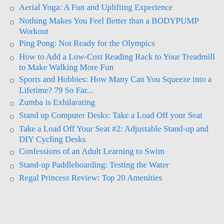Aerial Yoga: A Fun and Uplifting Experience
Nothing Makes You Feel Better than a BODYPUMP Workout
Ping Pong: Not Ready for the Olympics
How to Add a Low-Cost Reading Rack to Your Treadmill to Make Walking More Fun
Sports and Hobbies: How Many Can You Squeeze into a Lifetime? 79 So Far...
Zumba is Exhilarating
Stand up Computer Desks: Take a Load Off your Seat
Take a Load Off Your Seat #2: Adjustable Stand-up and DIY Cycling Desks
Confessions of an Adult Learning to Swim
Stand-up Paddleboarding: Testing the Water
Regal Princess Review: Top 20 Amenities